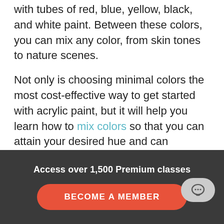with tubes of red, blue, yellow, black, and white paint. Between these colors, you can mix any color, from skin tones to nature scenes.
Not only is choosing minimal colors the most cost-effective way to get started with acrylic paint, but it will help you learn how to mix colors so that you can attain your desired hue and can understand the role that each color plays in mixtures.
Brushes
Access over 1,500 Premium classes
BECOME A MEMBER